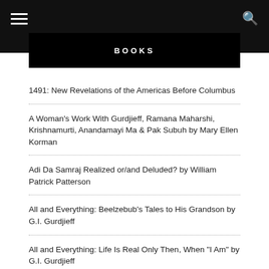BOOKS
1491: New Revelations of the Americas Before Columbus
A Woman's Work With Gurdjieff, Ramana Maharshi, Krishnamurti, Anandamayi Ma & Pak Subuh by Mary Ellen Korman
Adi Da Samraj Realized or/and Deluded? by William Patrick Patterson
All and Everything: Beelzebub's Tales to His Grandson by G.I. Gurdjieff
All and Everything: Life Is Real Only Then, When "I Am" by G.I. Gurdjieff